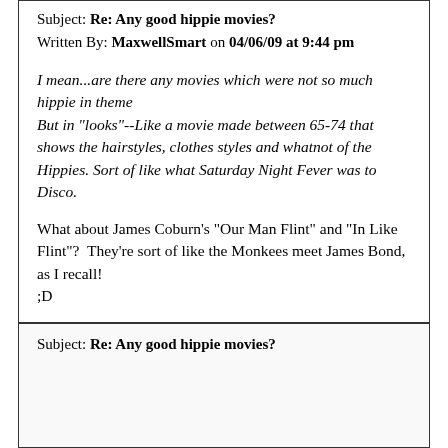Subject: Re: Any good hippie movies?
Written By: MaxwellSmart on 04/06/09 at 9:44 pm
I mean...are there any movies which were not so much hippie in theme
But in "looks"--Like a movie made between 65-74 that shows the hairstyles, clothes styles and whatnot of the Hippies. Sort of like what Saturday Night Fever was to Disco.
What about James Coburn's "Our Man Flint" and "In Like Flint"?  They're sort of like the Monkees meet James Bond, as I recall!
;D
Subject: Re: Any good hippie movies?